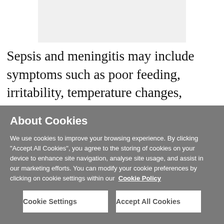[Figure (photo): Gray rectangular image placeholder (partially visible at top of page)]
Sepsis and meningitis may include symptoms such as poor feeding, irritability, temperature changes, jaundice (yellow skin and whites of the eyes) and
About Cookies
We use cookies to improve your browsing experience. By clicking “Accept All Cookies”, you agree to the storing of cookies on your device to enhance site navigation, analyse site usage, and assist in our marketing efforts. You can modify your cookie preferences by clicking on cookie settings within our  Cookie Policy
Cookie Settings   Accept All Cookies